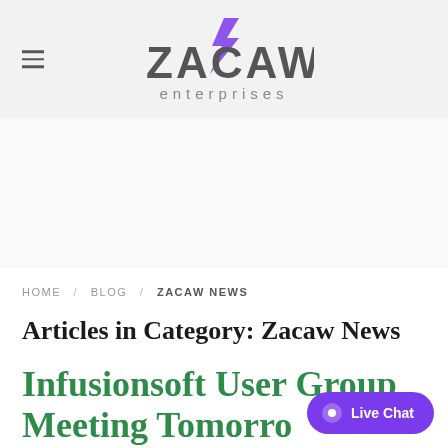Zacaw Enterprises — site header with logo and hamburger menu
HOME / BLOG / ZACAW NEWS
Articles in Category: Zacaw News
Infusionsoft User Group Meeting Tomorrow